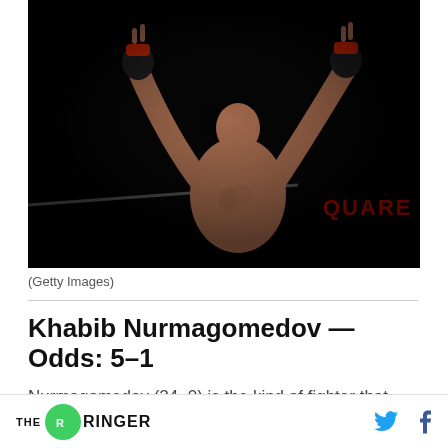[Figure (photo): UFC fighter with arms raised in celebration against a dark/black background, wearing MMA gloves with red wrist wraps, shirtless, in a fighting arena]
(Getty Images)
Khabib Nurmagomedov — Odds: 5–1
Nurmagomedov (24–0) is the kind of fighter that
THE RINGER